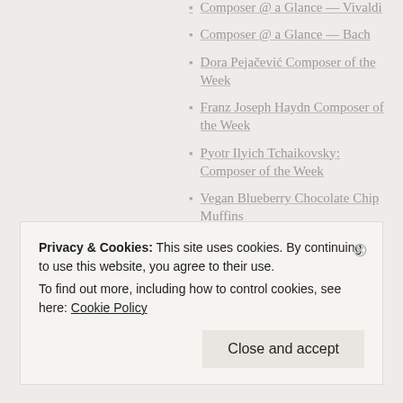Composer @ a Glance — Vivaldi
Composer @ a Glance — Bach
Dora Pejačević Composer of the Week
Franz Joseph Haydn Composer of the Week
Pyotr Ilyich Tchaikovsky: Composer of the Week
Vegan Blueberry Chocolate Chip Muffins
A Year of Quotes 1.25.16
A Year of Quotes, 1.20.16
A Year of Quotes 1.18.16
A Year of Quotes, 1.17.16
Privacy & Cookies: This site uses cookies. By continuing to use this website, you agree to their use. To find out more, including how to control cookies, see here: Cookie Policy
Close and accept